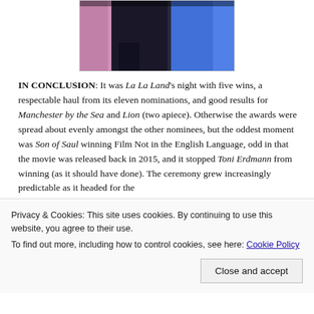[Figure (photo): Partially visible photo of people at a formal event, including a person in a pink dress, a person in a dark suit, and a person in a blue gown]
IN CONCLUSION: It was La La Land's night with five wins, a respectable haul from its eleven nominations, and good results for Manchester by the Sea and Lion (two apiece). Otherwise the awards were spread about evenly amongst the other nominees, but the oddest moment was Son of Saul winning Film Not in the English Language, odd in that the movie was released back in 2015, and it stopped Toni Erdmann from winning (as it should have done). The ceremony grew increasingly predictable as it headed for the
Privacy & Cookies: This site uses cookies. By continuing to use this website, you agree to their use.
To find out more, including how to control cookies, see here: Cookie Policy
Close and accept